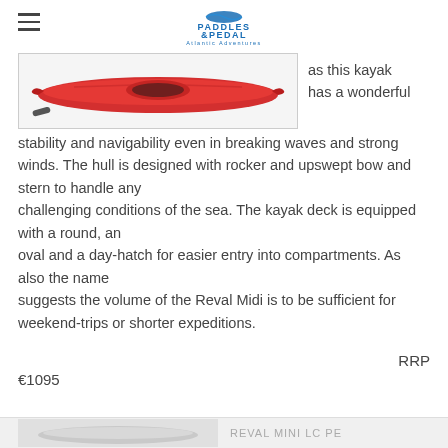Paddles & Pedal Atlantic Adventures
[Figure (photo): Red kayak product photo shown from the side]
as this kayak has a wonderful stability and navigability even in breaking waves and strong winds. The hull is designed with rocker and upswept bow and stern to handle any challenging conditions of the sea. The kayak deck is equipped with a round, an oval and a day-hatch for easier entry into compartments. As also the name suggests the volume of the Reval Midi is to be sufficient for weekend-trips or shorter expeditions.
RRP €1095
[Figure (photo): Bottom strip showing partial kayak image with label REVAL MINI LC PE]